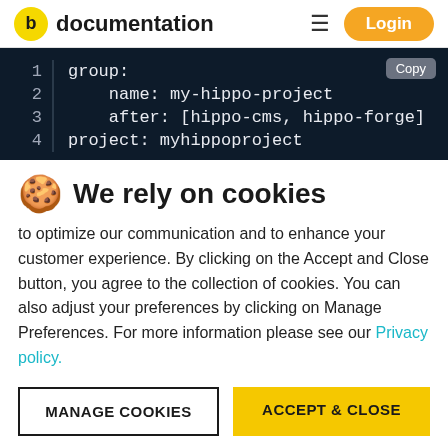documentation
[Figure (screenshot): Code block showing YAML configuration: group:, name: my-hippo-project, after: [hippo-cms, hippo-forge], project: myhippoproject with a Copy button]
🍪 We rely on cookies
to optimize our communication and to enhance your customer experience. By clicking on the Accept and Close button, you agree to the collection of cookies. You can also adjust your preferences by clicking on Manage Preferences. For more information please see our Privacy policy.